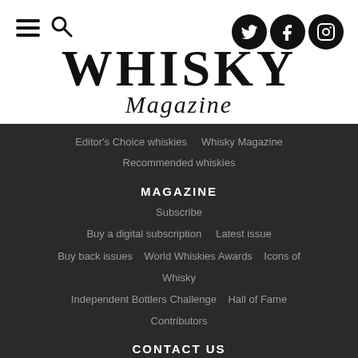Whisky Magazine
Editor's Choice whiskies   Whisky Magazine Recommended whiskies
MAGAZINE
Subscribe
Buy a digital subscription   Latest issue
Buy back issues   World Whiskies Awards   Icons of Whisky
Independent Bottlers Challenge   Hall of Fame
Contributors
CONTACT US